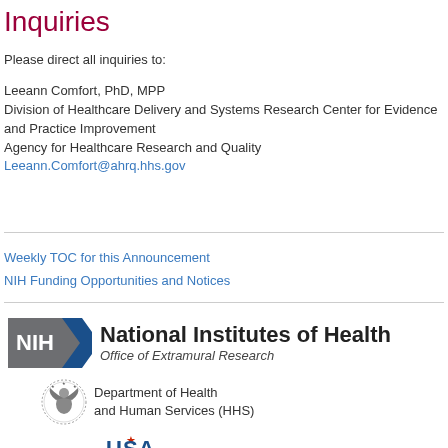Inquiries
Please direct all inquiries to:
Leeann Comfort, PhD, MPP
Division of Healthcare Delivery and Systems Research Center for Evidence and Practice Improvement
Agency for Healthcare Research and Quality
Leeann.Comfort@ahrq.hhs.gov
Weekly TOC for this Announcement
NIH Funding Opportunities and Notices
[Figure (logo): NIH National Institutes of Health Office of Extramural Research logo with dark blue and gray badge, followed by Department of Health and Human Services (HHS) circular eagle logo, and USA.gov logo]